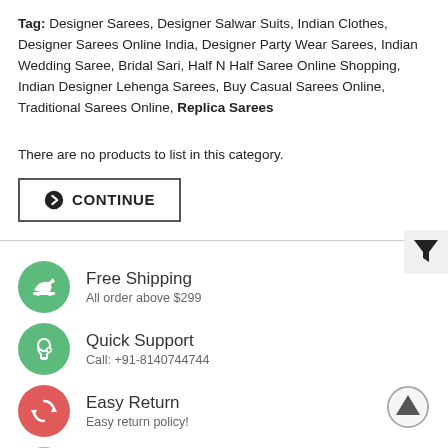Tag: Designer Sarees, Designer Salwar Suits, Indian Clothes, Designer Sarees Online India, Designer Party Wear Sarees, Indian Wedding Saree, Bridal Sari, Half N Half Saree Online Shopping, Indian Designer Lehenga Sarees, Buy Casual Sarees Online, Traditional Sarees Online, Replica Sarees
There are no products to list in this category.
CONTINUE
[Figure (infographic): Free Shipping icon - airplane on green circle]
Free Shipping
All order above $299
[Figure (infographic): Quick Support icon - headset on green circle]
Quick Support
Call: +91-8140744744
[Figure (infographic): Easy Return icon - recycle arrows on red/pink circle]
Easy Return
Easy return policy!
[Figure (infographic): Secure Payment icon - dollar sign on orange circle]
Secure Payment